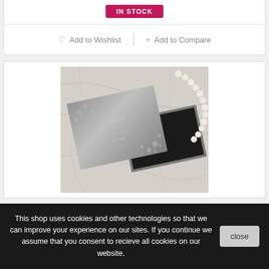IN STOCK
♡ Add to Wishlist  |  + Add to Compare
[Figure (photo): An open silver jewelry gift box with engraved dot pattern and cursive text reading 'Grandma, We Love You, Made by You, Family'. A pearl necklace is draped over the box, set on a marble surface.]
This shop uses cookies and other technologies so that we can improve your experience on our sites. If you continue we assume that you consent to recieve all cookies on our website.